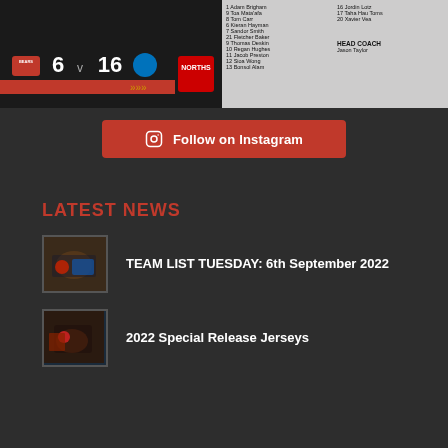[Figure (screenshot): Two Instagram post images side by side. Left: rugby league match scorecard showing Bears 6 vs Panthers 16. Right: team lineup sheet with player names and HEAD COACH Jason Taylor.]
Follow on Instagram
LATEST NEWS
[Figure (photo): Thumbnail of rugby league action photo for TEAM LIST TUESDAY article]
TEAM LIST TUESDAY: 6th September 2022
[Figure (photo): Thumbnail of rugby player running with ball for 2022 Special Release Jerseys article]
2022 Special Release Jerseys